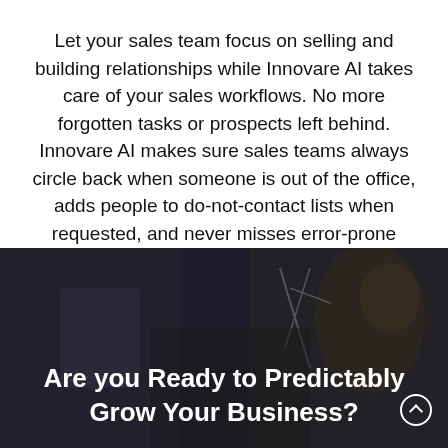Let your sales team focus on selling and building relationships while Innovare AI takes care of your sales workflows. No more forgotten tasks or prospects left behind. Innovare AI makes sure sales teams always circle back when someone is out of the office, adds people to do-not-contact lists when requested, and never misses error-prone tasks.
[Figure (photo): Dark-toned office background image showing a person at a desk/workstation, overlaid with a semi-transparent dark filter. White bold text overlay reads 'Are you Ready to Predictably Grow Your Business?' with a scroll-up arrow button in the bottom right.]